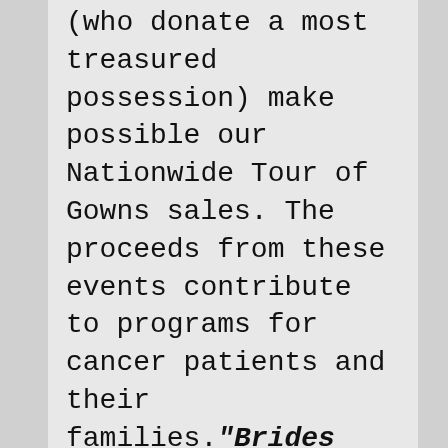(who donate a most treasured possession) make possible our Nationwide Tour of Gowns sales. The proceeds from these events contribute to programs for cancer patients and their families. "Brides Against Breast Cancer™ – Nationwide Tour of Gowns" This unique opportunity allows brides-to-be a chance to find the gown of their dreams at a remarkable price. Most gown prices range from